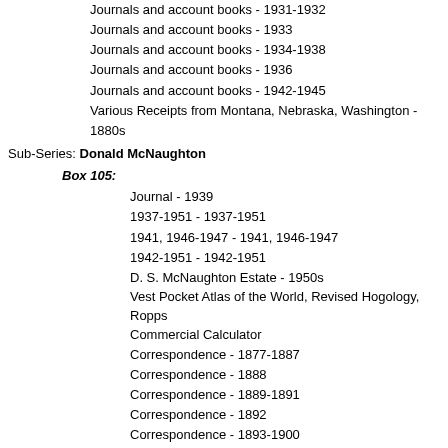Journals and account books - 1931-1932
Journals and account books - 1933
Journals and account books - 1934-1938
Journals and account books - 1936
Journals and account books - 1942-1945
Various Receipts from Montana, Nebraska, Washington - 1880s
Sub-Series: Donald McNaughton
Box 105:
Journal - 1939
1937-1951 - 1937-1951
1941, 1946-1947 - 1941, 1946-1947
1942-1951 - 1942-1951
D. S. McNaughton Estate - 1950s
Vest Pocket Atlas of the World, Revised Hogology, Ropps Commercial Calculator
Correspondence - 1877-1887
Correspondence - 1888
Correspondence - 1889-1891
Correspondence - 1892
Correspondence - 1893-1900
Box 106:
Correspondence - 1902-1909
Correspondence - 1910-1911
Correspondence - 1912
Correspondence - 1913-1916